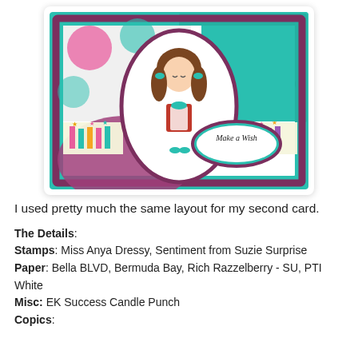[Figure (photo): A handmade birthday card featuring a cartoon girl character (Miss Anya Dressy) in a red dress with teal shoes and pigtails, centered in a white oval frame on a teal and purple/maroon layered background with polka dots and birthday candle patterned paper. An oval sentiment badge reads 'Make a Wish' in the lower right.]
I used pretty much the same layout for my second card.
The Details:
Stamps: Miss Anya Dressy, Sentiment from Suzie Surprise
Paper: Bella BLVD, Bermuda Bay, Rich Razzelberry - SU, PTI White
Misc: EK Success Candle Punch
Copics: